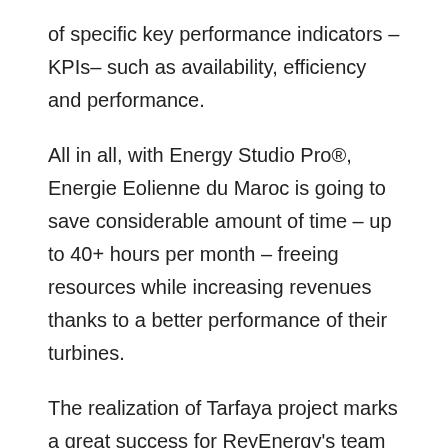of specific key performance indicators – KPIs– such as availability, efficiency and performance.
All in all, with Energy Studio Pro®, Energie Eolienne du Maroc is going to save considerable amount of time – up to 40+ hours per month – freeing resources while increasing revenues thanks to a better performance of their turbines.
The realization of Tarfaya project marks a great success for ReyEnergy's team of